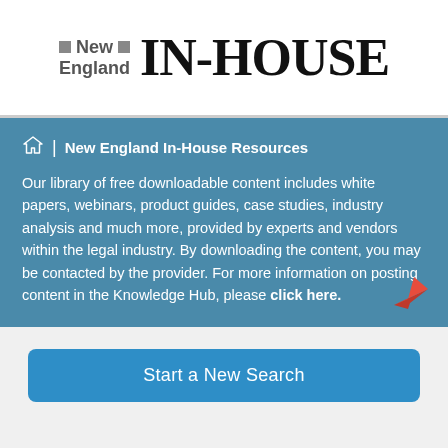[Figure (logo): New England IN-HOUSE logo with small grey squares next to 'New England' text and large bold serif IN-HOUSE text]
New England In-House Resources
Our library of free downloadable content includes white papers, webinars, product guides, case studies, industry analysis and much more, provided by experts and vendors within the legal industry. By downloading the content, you may be contacted by the provider. For more information on posting content in the Knowledge Hub, please click here.
Start a New Search